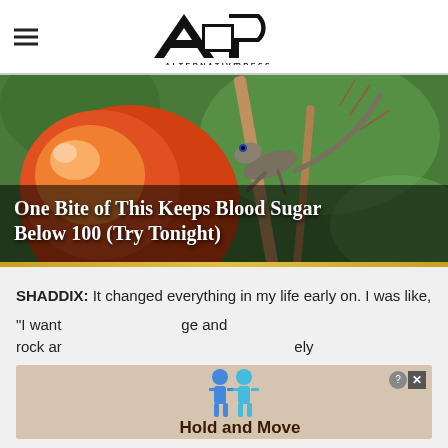Alternative Press (AP logo)
[Figure (photo): Close-up macro photo of a small lizard or gecko on an orange/red fruit with bokeh green background. Advertisement image with overlay text: 'One Bite of This Keeps Blood Sugar Below 100 (Try Tonight)']
SHADDIX: It changed everything in my life early on. I was like, "I want... ge and rock ar... ely
[Figure (other): Inline advertisement banner showing two blue human figure icons and text 'Hold and Move' with close/X button]